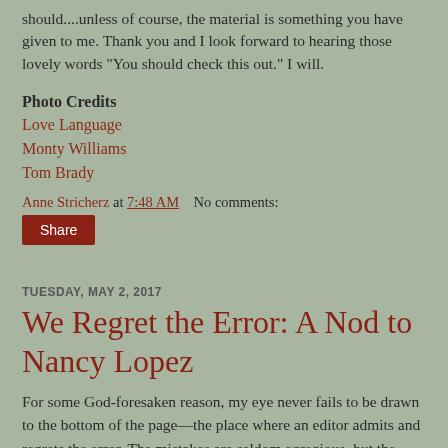should....unless of course, the material is something you have given to me. Thank you and I look forward to hearing those lovely words "You should check this out." I will.
Photo Credits
Love Language
Monty Williams
Tom Brady
Anne Stricherz at 7:48 AM   No comments:
Share
TUESDAY, MAY 2, 2017
We Regret the Error: A Nod to Nancy Lopez
For some God-foresaken reason, my eye never fails to be drawn to the bottom of the page—the place where an editor admits and regrets the error. The mistakes are seldom egregious, but the wrong needs to be made right, and the correction needs a place to stand. I don't know why I take inventory of these matters, but I do. And